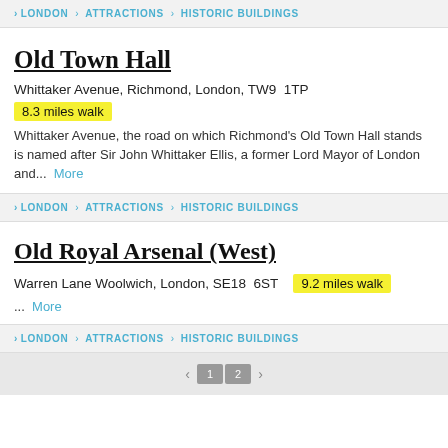> LONDON > ATTRACTIONS > HISTORIC BUILDINGS
Old Town Hall
Whittaker Avenue, Richmond, London, TW9  1TP
8.3 miles walk
Whittaker Avenue, the road on which Richmond's Old Town Hall stands is named after Sir John Whittaker Ellis, a former Lord Mayor of London and...  More
> LONDON > ATTRACTIONS > HISTORIC BUILDINGS
Old Royal Arsenal (West)
Warren Lane Woolwich, London, SE18  6ST   9.2 miles walk
...  More
> LONDON > ATTRACTIONS > HISTORIC BUILDINGS